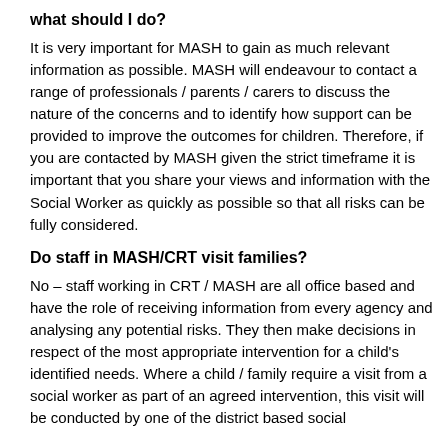what should I do?
It is very important for MASH to gain as much relevant information as possible. MASH will endeavour to contact a range of professionals / parents / carers to discuss the nature of the concerns and to identify how support can be provided to improve the outcomes for children. Therefore, if you are contacted by MASH given the strict timeframe it is important that you share your views and information with the Social Worker as quickly as possible so that all risks can be fully considered.
Do staff in MASH/CRT visit families?
No – staff working in CRT / MASH are all office based and have the role of receiving information from every agency and analysing any potential risks. They then make decisions in respect of the most appropriate intervention for a child's identified needs. Where a child / family require a visit from a social worker as part of an agreed intervention, this visit will be conducted by one of the district based social